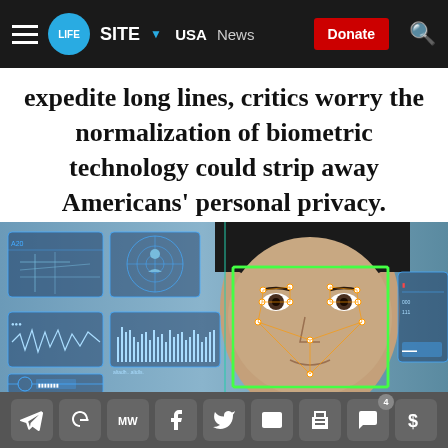LIFESITE · USA · News · Donate
expedite long lines, critics worry the normalization of biometric technology could strip away Americans' personal privacy.
[Figure (photo): Facial recognition technology illustration showing a man's face overlaid with geometric tracking dots and lines, alongside HUD-style data panels showing maps, radar, waveforms, and other biometric displays. A green rectangular target box frames the face.]
Social share icons: Telegram, Google, MediaWiki, Facebook, Twitter, Email, Print, Comments (4), Donate ($)